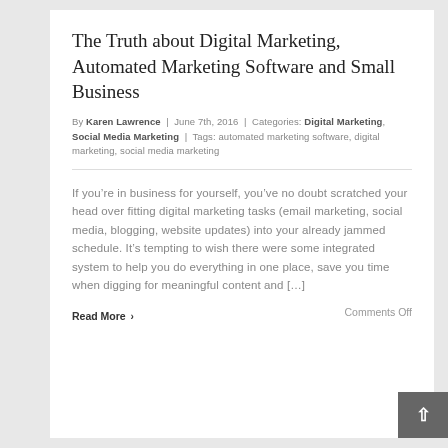The Truth about Digital Marketing, Automated Marketing Software and Small Business
By Karen Lawrence | June 7th, 2016 | Categories: Digital Marketing, Social Media Marketing | Tags: automated marketing software, digital marketing, social media marketing
If you’re in business for yourself, you’ve no doubt scratched your head over fitting digital marketing tasks (email marketing, social media, blogging, website updates) into your already jammed schedule. It’s tempting to wish there were some integrated system to help you do everything in one place, save you time when digging for meaningful content and […]
Read More ›
Comments Off